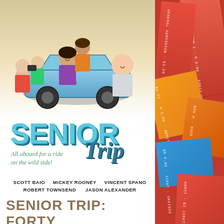[Figure (illustration): Movie poster for 'Senior Trip' showing cartoon illustration of students riding on a car, with characters running and having fun. The poster shows the title 'SENIOR Trip' with tagline 'All aboard for a ride on the wild side!' and cast names including Scott Baio, Mickey Rooney, Vincent Spano, Robert Townsend, Jason Alexander. To the right is a collage of colorful event tickets.]
SENIOR TRIP: FORTY YEARS OF [REDACTED]DSHIPS